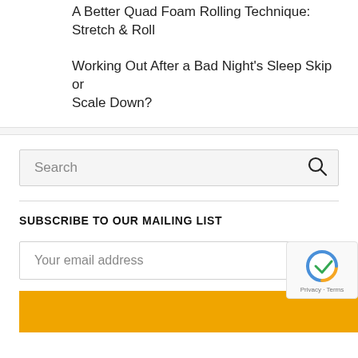A Better Quad Foam Rolling Technique: Stretch & Roll
Working Out After a Bad Night's Sleep Skip or Scale Down?
Search
SUBSCRIBE TO OUR MAILING LIST
Your email address